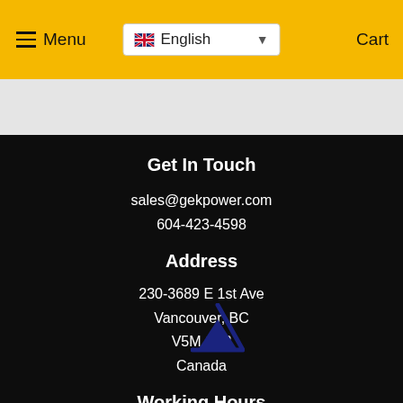Menu  English  Cart
Get In Touch
sales@gekpower.com
604-423-4598
Address
230-3689 E 1st Ave
Vancouver, BC
V5M 1C2
Canada
Working Hours
Mon - Fri: 8 A.M - 4.00 P.M
Weekends & Statutory holidays off